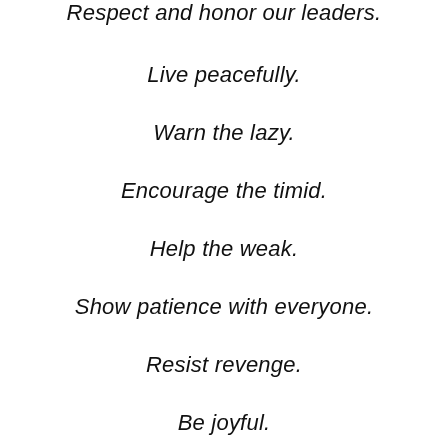Respect and honor our leaders.
Live peacefully.
Warn the lazy.
Encourage the timid.
Help the weak.
Show patience with everyone.
Resist revenge.
Be joyful.